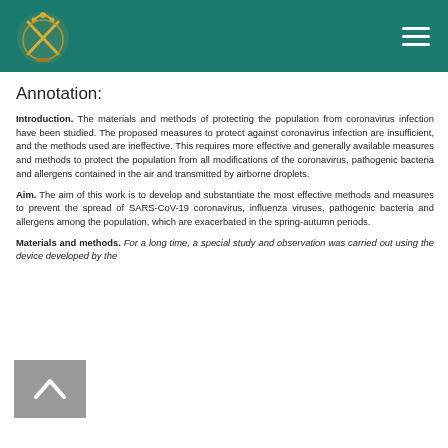[Institution logo and navigation header on teal background]
Annotation:
Introduction. The materials and methods of protecting the population from coronavirus infection have been studied. The proposed measures to protect against coronavirus infection are insufficient, and the methods used are ineffective. This requires more effective and generally available measures and methods to protect the population from all modifications of the coronavirus, pathogenic bacteria and allergens contained in the air and transmitted by airborne droplets.
Aim. The aim of this work is to develop and substantiate the most effective methods and measures to prevent the spread of SARS-CoV-19 coronavirus, influenza viruses, pathogenic bacteria and allergens among the population, which are exacerbated in the spring-autumn periods.
Materials and methods. For a long time, a special study and observation was carried out using the device developed by the